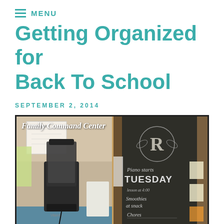≡ MENU
Getting Organized for Back To School
SEPTEMBER 2, 2014
[Figure (photo): Two-panel photo labeled 'Family Command Center'. Left panel shows a kitchen counter with a blender (Vitamix) and papers/calendar on wall. Right panel shows a chalkboard door with decorative letter R and chalk writing reading 'Piano starts TUESDAY', 'Smoothies at snack', 'Chores'.]